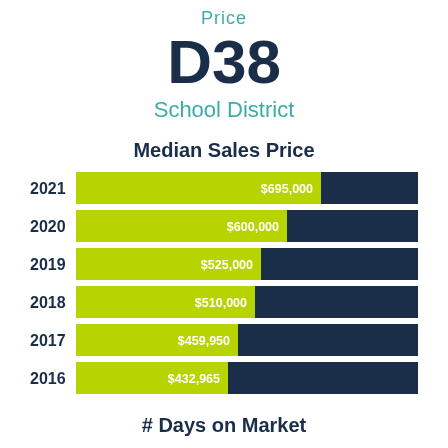Price
D38
School District
Median Sales Price
[Figure (bar-chart): Median Sales Price]
# Days on Market